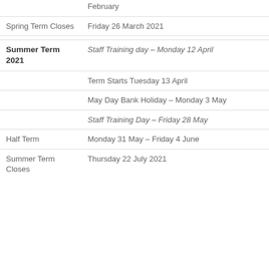|  | February |
| Spring Term Closes | Friday 26 March 2021 |
| Summer Term 2021 | Staff Training day – Monday 12 April |
|  | Term Starts Tuesday 13 April |
|  | May Day Bank Holiday – Monday 3 May |
|  | Staff Training Day – Friday 28 May |
| Half Term | Monday 31 May – Friday 4 June |
| Summer Term Closes | Thursday 22 July 2021 |